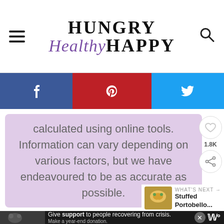Hungry Healthy Happy
[Figure (screenshot): Social sharing bar with Facebook, Pinterest, and Twitter icons]
calculated using online tools. Information can vary depending on various factors, but we have endeavoured to be as accurate as possible.
[Figure (infographic): What's Next panel showing Stuffed Portobello... with thumbnail image]
[Figure (screenshot): Advertisement banner: Give support to people recovering from crisis. Make a year-end donation.]